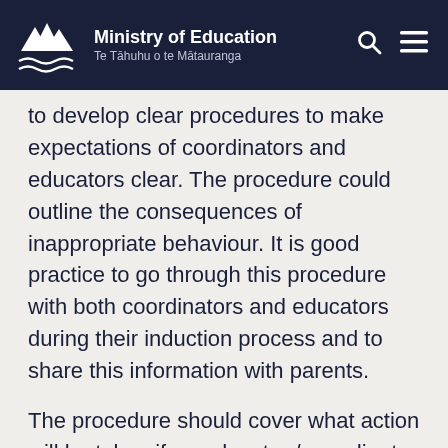Ministry of Education | Te Tāhuhu o te Mātauranga
to develop clear procedures to make expectations of coordinators and educators clear. The procedure could outline the consequences of inappropriate behaviour. It is good practice to go through this procedure with both coordinators and educators during their induction process and to share this information with parents.
The procedure should cover what action will be taken if an educator / coordinator is under the influence of alcohol or any other substance. This is a staff management issue and appropriate procedures need to be